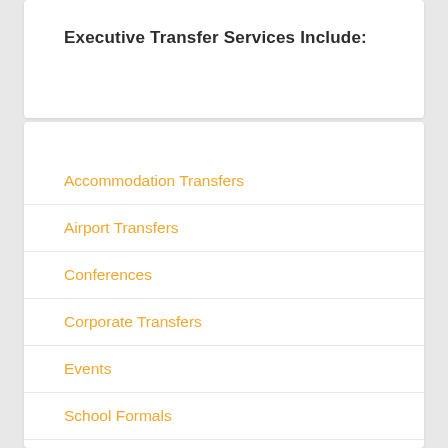Executive Transfer Services Include:
Accommodation Transfers
Airport Transfers
Conferences
Corporate Transfers
Events
School Formals